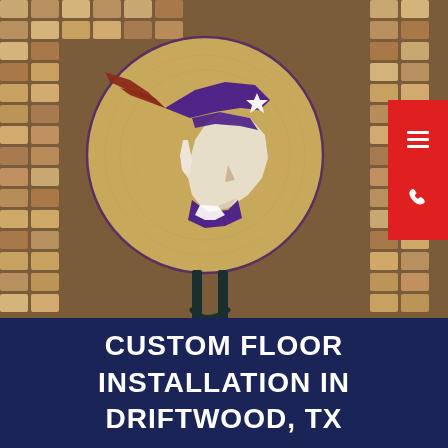[Figure (photo): A circular wooden floor medallion with the New England Patriots logo (patriot head in purple with red and brown feathers, white star) inlaid in wood, displayed on a dark metal stand. The background is a mosaic wall of wood blocks in various shades of brown and tan.]
CUSTOM FLOOR INSTALLATION IN DRIFTWOOD, TX